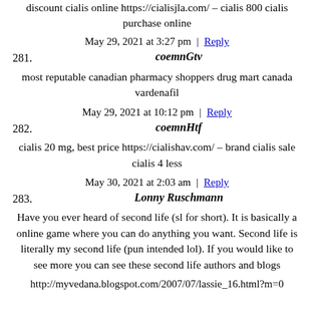discount cialis online https://cialisjla.com/ – cialis 800 cialis purchase online
May 29, 2021 at 3:27 pm | Reply
281.
coemnGtv
most reputable canadian pharmacy shoppers drug mart canada vardenafil
May 29, 2021 at 10:12 pm | Reply
282.
coemnHtf
cialis 20 mg, best price https://cialishav.com/ – brand cialis sale cialis 4 less
May 30, 2021 at 2:03 am | Reply
283.
Lonny Ruschmann
Have you ever heard of second life (sl for short). It is basically a online game where you can do anything you want. Second life is literally my second life (pun intended lol). If you would like to see more you can see these second life authors and blogs
http://myvedana.blogspot.com/2007/07/lassie_16.html?m=0